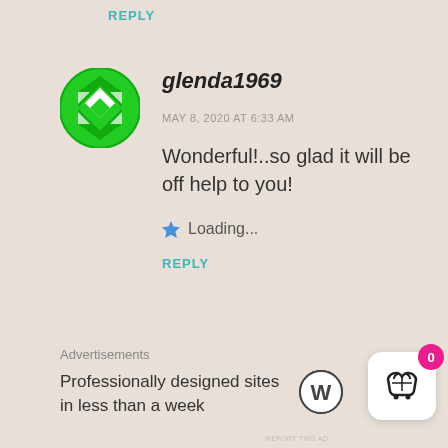REPLY
[Figure (illustration): Green circular avatar with geometric diamond/flower pattern for user glenda1969]
glenda1969
MAY 8, 2020 AT 6:33 AM
Wonderful!..so glad it will be off help to you!
★ Loading...
REPLY
Advertisements
Professionally designed sites in less than a week
[Figure (logo): WordPress logo (circle with W)]
[Figure (illustration): Shopping cart icon in white rounded box with pink badge showing 0]
REPORT THIS AD